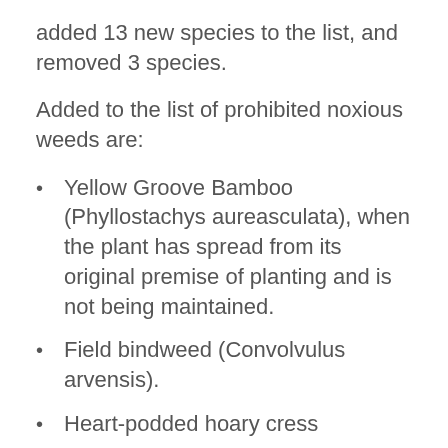added 13 new species to the list, and removed 3 species.
Added to the list of prohibited noxious weeds are:
Yellow Groove Bamboo (Phyllostachys aureasculata), when the plant has spread from its original premise of planting and is not being maintained.
Field bindweed (Convolvulus arvensis).
Heart-podded hoary cress (Lepidium draba subsp. draba).